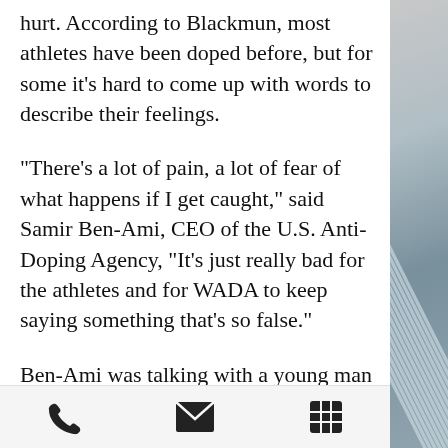hurt. According to Blackmun, most athletes have been doped before, but for some it's hard to come up with words to describe their feelings.
"There's a lot of pain, a lot of fear of what happens if I get caught," said Samir Ben-Ami, CEO of the U.S. Anti-Doping Agency, "It's just really bad for the athletes and for WADA to keep saying something that's so false."
Ben-Ami was talking with a young man as he drove him home from a workout. The man got his blood drawn after complaining of soreness and pain in his joints after playing basketball or running the track. Ben-Ami and the boy had a conversation, with Ben-Ami eventually telling the teen that steroids have